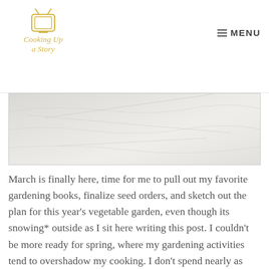Cooking Up a Story | MENU
[Figure (photo): A light-colored fabric or crinkled white/off-white surface with soft creases and wrinkles, shown from above]
March is finally here, time for me to pull out my favorite gardening books, finalize seed orders, and sketch out the plan for this year's vegetable garden, even though its snowing* outside as I sit here writing this post. I couldn't be more ready for spring, where my gardening activities tend to overshadow my cooking. I don't spend nearly as much time experimenting in the kitchen like usual, all that daydreaming